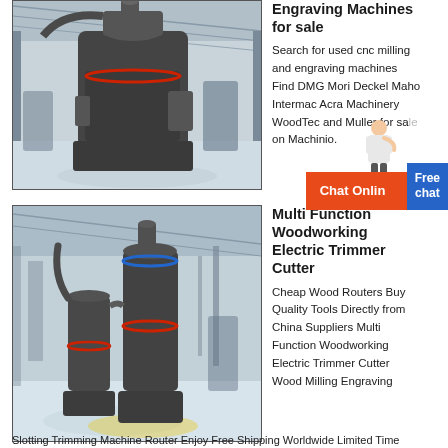[Figure (photo): Industrial milling/grinding machine inside a large factory warehouse, grey equipment with cylindrical shapes]
Engraving Machines for sale
Search for used cnc milling and engraving machines Find DMG Mori Deckel Maho Intermac Acra Machinery WoodTec and Muller for sale on Machinio.
[Figure (photo): Industrial milling/grinding machine inside a large factory warehouse, grey equipment with cylindrical shapes, similar to first image]
Multi Function Woodworking Electric Trimmer Cutter
Cheap Wood Routers Buy Quality Tools Directly from China Suppliers Multi Function Woodworking Electric Trimmer Cutter Wood Milling Engraving
Slotting Trimming Machine Router Enjoy Free Shipping Worldwide Limited Time